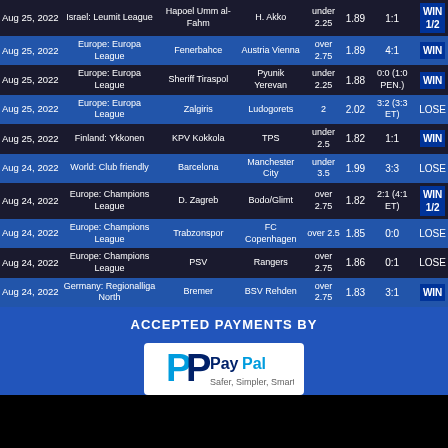| Date | League | Team 1 | Team 2 | Tip | Odds | Score | Result |
| --- | --- | --- | --- | --- | --- | --- | --- |
| Aug 25, 2022 | Israel: Leumit League | Hapoel Umm al-Fahm | H. Akko | under 2.25 | 1.89 | 1:1 | WIN 1/2 |
| Aug 25, 2022 | Europe: Europa League | Fenerbahce | Austria Vienna | over 2.75 | 1.89 | 4:1 | WIN |
| Aug 25, 2022 | Europe: Europa League | Sheriff Tiraspol | Pyunik Yerevan | under 2.25 | 1.88 | 0:0 (1:0 PEN.) | WIN |
| Aug 25, 2022 | Europe: Europa League | Zalgiris | Ludogorets | 2 | 2.02 | 3:2 (3:3 ET) | LOSE |
| Aug 25, 2022 | Finland: Ykkonen | KPV Kokkola | TPS | under 2.5 | 1.82 | 1:1 | WIN |
| Aug 24, 2022 | World: Club friendly | Barcelona | Manchester City | under 3.5 | 1.99 | 3:3 | LOSE |
| Aug 24, 2022 | Europe: Champions League | D. Zagreb | Bodo/Glimt | over 2.75 | 1.82 | 2:1 (4:1 ET) | WIN 1/2 |
| Aug 24, 2022 | Europe: Champions League | Trabzonspor | FC Copenhagen | over 2.5 | 1.85 | 0:0 | LOSE |
| Aug 24, 2022 | Europe: Champions League | PSV | Rangers | over 2.75 | 1.86 | 0:1 | LOSE |
| Aug 24, 2022 | Germany: Regionalliga North | Bremer | BSV Rehden | over 2.75 | 1.83 | 3:1 | WIN |
ACCEPTED PAYMENTS BY
[Figure (logo): PayPal logo]